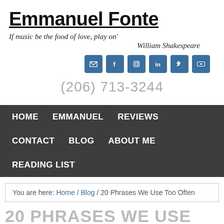Emmanuel Fonte
If music be the food of love, play on'
William Shakespeare
[Figure (other): Social media icon buttons: email, facebook, instagram, linkedin, twitter, youtube]
(206) 713-3244
HOME   EMMANUEL   REVIEWS   CONTACT   BLOG   ABOUT ME   READING LIST
You are here: Home / Blog / 20 Phrases We Use Too Often
20 PHRASES WE USE TOO